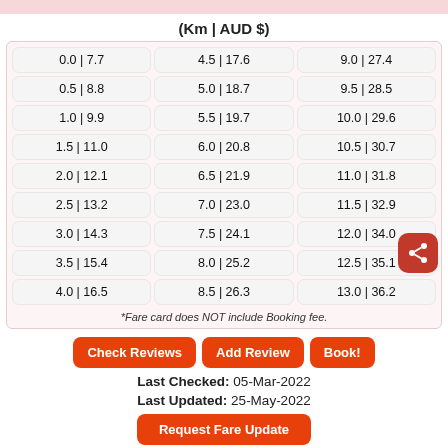(Km | AUD $)
| 0.0 | 7.7 | 4.5 | 17.6 | 9.0 | 27.4 |
| 0.5 | 8.8 | 5.0 | 18.7 | 9.5 | 28.5 |
| 1.0 | 9.9 | 5.5 | 19.7 | 10.0 | 29.6 |
| 1.5 | 11.0 | 6.0 | 20.8 | 10.5 | 30.7 |
| 2.0 | 12.1 | 6.5 | 21.9 | 11.0 | 31.8 |
| 2.5 | 13.2 | 7.0 | 23.0 | 11.5 | 32.9 |
| 3.0 | 14.3 | 7.5 | 24.1 | 12.0 | 34.0 |
| 3.5 | 15.4 | 8.0 | 25.2 | 12.5 | 35.1 |
| 4.0 | 16.5 | 8.5 | 26.3 | 13.0 | 36.2 |
*Fare card does NOT include Booking fee.
Last Checked: 05-Mar-2022
Last Updated: 25-May-2022